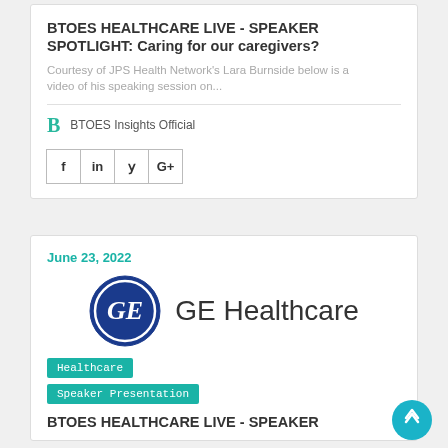BTOES HEALTHCARE LIVE - SPEAKER SPOTLIGHT: Caring for our caregivers?
Courtesy of JPS Health Network's Lara Burnside below is a video of his speaking session on...
BTOES Insights Official
[Figure (other): Social share buttons: Facebook, LinkedIn, Twitter, Google+]
June 23, 2022
[Figure (logo): GE Healthcare logo - blue circle with GE monogram script and GE Healthcare text]
Healthcare
Speaker Presentation
BTOES HEALTHCARE LIVE - SPEAKER